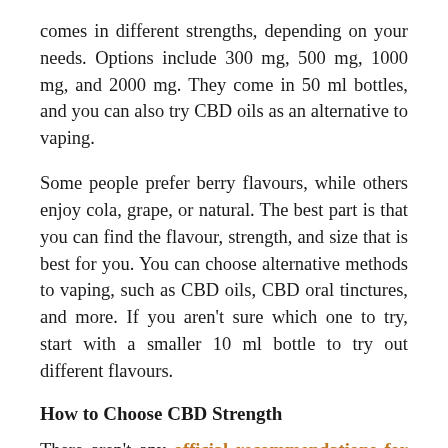comes in different strengths, depending on your needs. Options include 300 mg, 500 mg, 1000 mg, and 2000 mg. They come in 50 ml bottles, and you can also try CBD oils as an alternative to vaping.
Some people prefer berry flavours, while others enjoy cola, grape, or natural. The best part is that you can find the flavour, strength, and size that is best for you. You can choose alternative methods to vaping, such as CBD oils, CBD oral tinctures, and more. If you aren't sure which one to try, start with a smaller 10 ml bottle to try out different flavours.
How to Choose CBD Strength
There aren't any official recommendations for the dosage, so you need to decide what dose is ideal for your